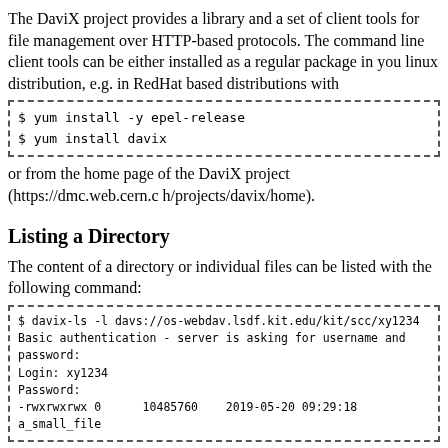The DaviX project provides a library and a set of client tools for file management over HTTP-based protocols. The command line client tools can be either installed as a regular package in you linux distribution, e.g. in RedHat based distributions with
[Figure (other): Code block with dashed border showing: $ yum install -y epel-release
$ yum install davix]
or from the home page of the DaviX project (https://dmc.web.cern.ch/projects/davix/home).
Listing a Directory
The content of a directory or individual files can be listed with the following command:
[Figure (other): Code block with dashed border showing: $ davix-ls -l davs://os-webdav.lsdf.kit.edu/kit/scc/xy1234
Basic authentication - server is asking for username and password:
Login: xy1234
Password:
-rwxrwxrwx 0      10485760    2019-05-20 09:29:18 a_small_file]